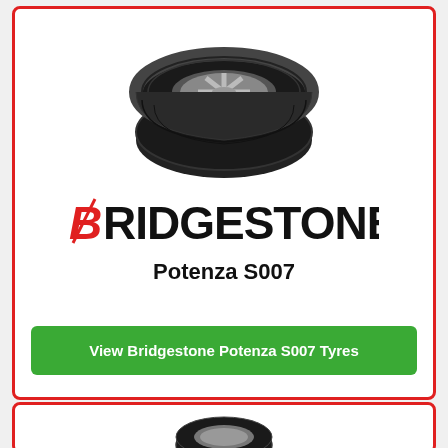[Figure (photo): Bridgestone Potenza S007 tyre shown from front-side angle on white background]
[Figure (logo): Bridgestone logo with red slash/B mark followed by BRIDGESTONE in bold black text]
Potenza S007
View Bridgestone Potenza S007 Tyres
[Figure (photo): Partial view of another tyre at the bottom of the page, second card beginning]